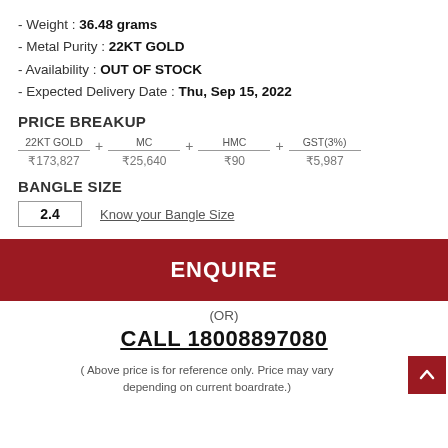- Weight : 36.48 grams
- Metal Purity : 22KT GOLD
- Availability : OUT OF STOCK
- Expected Delivery Date : Thu, Sep 15, 2022
PRICE BREAKUP
| 22KT GOLD | MC | HMC | GST(3%) |
| --- | --- | --- | --- |
| ₹173,827 | ₹25,640 | ₹90 | ₹5,987 |
BANGLE SIZE
2.4    Know your Bangle Size
ENQUIRE
(OR)
CALL 18008897080
( Above price is for reference only. Price may vary depending on current boardrate.)